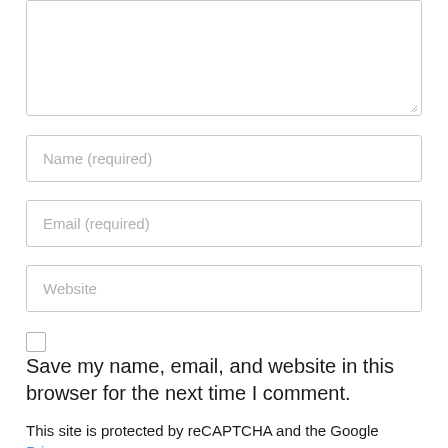[Figure (screenshot): Textarea input box (empty, with resize handle at bottom right)]
Name (required)
Email (required)
Website
Save my name, email, and website in this browser for the next time I comment.
This site is protected by reCAPTCHA and the Google Privacy